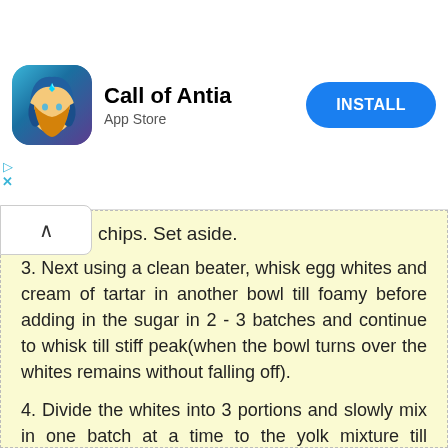[Figure (other): Advertisement banner for 'Call of Antia' mobile game on App Store with an Install button]
nocolate chips. Set aside.
3.  Next using a clean beater, whisk egg whites and cream of tartar in another bowl till foamy before adding in the sugar in 2 - 3 batches and continue to whisk till stiff peak(when the bowl turns over the whites remains without falling off).
4.  Divide the whites into 3 portions and slowly mix in one batch at a time to the yolk mixture till combine.  (carefully not to mix too much and knock out the air in the batter)
5.  Pour batter into the lightly grease Happy Call Pan, bake on low heat for 12 minutes, slowly shift the pan towards right side so that left side (1/2 of the HCP) of the pan is on the heat, bake for another 6 minutes. Next shift the pan back